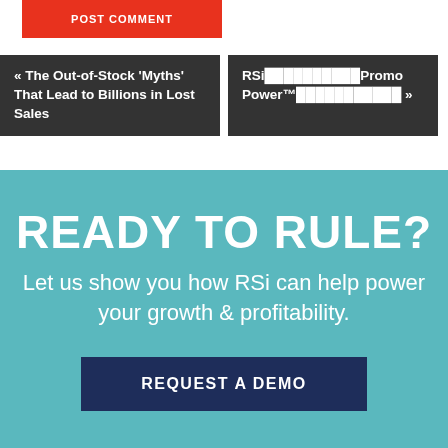POST COMMENT
« The Out-of-Stock ‘Myths’ That Lead to Billions in Lost Sales
RSi██████████Promo Power™███████████ »
READY TO RULE?
Let us show you how RSi can help power your growth & profitability.
REQUEST A DEMO